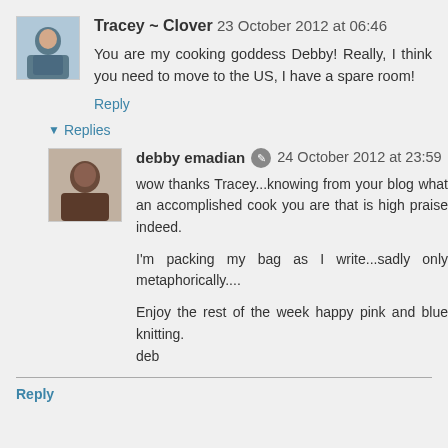Tracey ~ Clover 23 October 2012 at 06:46
You are my cooking goddess Debby! Really, I think you need to move to the US, I have a spare room!
Reply
Replies
debby emadian 24 October 2012 at 23:59
wow thanks Tracey...knowing from your blog what an accomplished cook you are that is high praise indeed.

I'm packing my bag as I write...sadly only metaphorically....

Enjoy the rest of the week happy pink and blue knitting.
deb
Reply